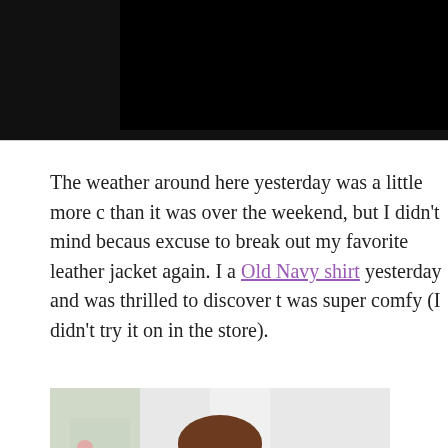[Figure (photo): Top portion of a blog page showing a dark/black image at the top, cropped]
The weather around here yesterday was a little more c than it was over the weekend, but I didn't mind becaus excuse to break out my favorite leather jacket again. I a Old Navy shirt yesterday and was thrilled to discover t was super comfy (I didn't try it on in the store).
[Figure (photo): Mirror selfie of a woman with brown hair holding a teal phone, partial view]